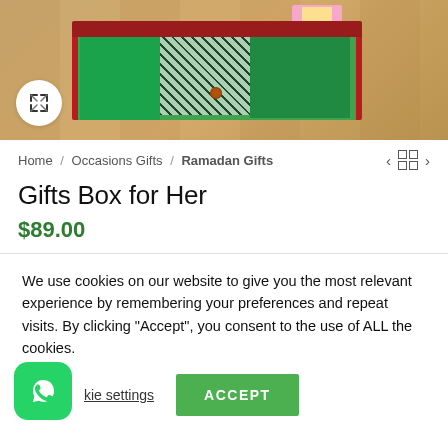[Figure (photo): A red gift box open on a wooden floor, filled with green fabric items and decorated items, viewed from above at an angle. A circular white expand/fullscreen button icon is visible at the bottom left of the image.]
Home / Occasions Gifts / Ramadan Gifts
Gifts Box for Her
$89.00
We use cookies on our website to give you the most relevant experience by remembering your preferences and repeat visits. By clicking "Accept", you consent to the use of ALL the cookies.
kie settings   ACCEPT